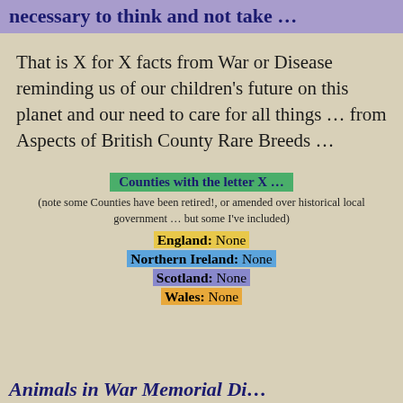necessary to think and not take …
That is X for X facts from War or Disease reminding us of our children's future on this planet and our need to care for all things … from Aspects of British County Rare Breeds …
Counties with the letter X …
(note some Counties have been retired!, or amended over historical local government … but some I've included)
England: None
Northern Ireland: None
Scotland: None
Wales: None
Animals in War Memorial Di…